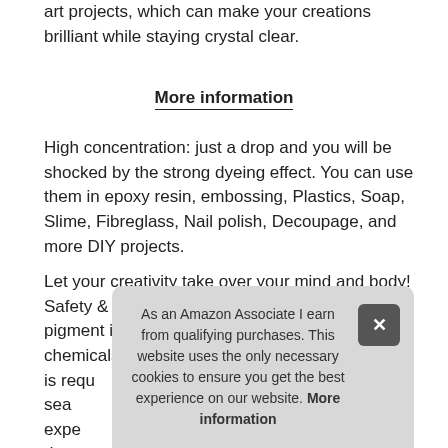art projects, which can make your creations brilliant while staying crystal clear.
More information
High concentration: just a drop and you will be shocked by the strong dyeing effect. You can use them in epoxy resin, embossing, Plastics, Soap, Slime, Fibreglass, Nail polish, Decoupage, and more DIY projects.
Let your creativity take over your mind and body! Safety & leak-proof design: our epoxy resin pigment is made from non-toxic, no harsh chemicals, cruelty free materials. No preparation is requ... sea... expe... drop...
As an Amazon Associate I earn from qualifying purchases. This website uses the only necessary cookies to ensure you get the best experience on our website. More information